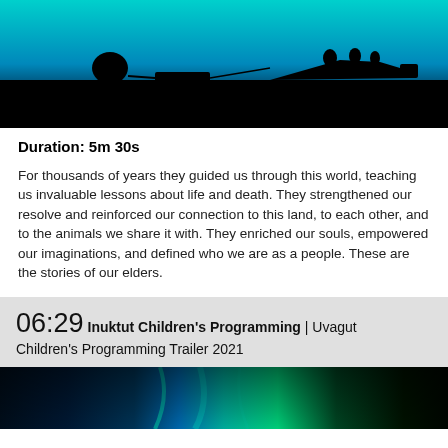[Figure (photo): Dark silhouette image showing a dog sled team and boat on a horizon against a teal/blue sky, black foreground land]
Duration: 5m 30s
For thousands of years they guided us through this world, teaching us invaluable lessons about life and death. They strengthened our resolve and reinforced our connection to this land, to each other, and to the animals we share it with. They enriched our souls, empowered our imaginations, and defined who we are as a people. These are the stories of our elders.
06:29 Inuktut Children's Programming | Uvagut Children's Programming Trailer 2021
[Figure (photo): Aurora borealis / northern lights image with blue, teal, and green light streaks on dark background]